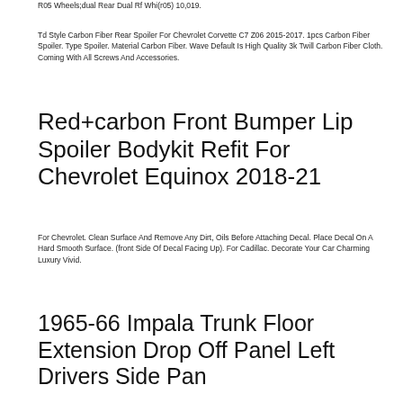R05 Wheels;dual Rear Dual Rf Whi(r05) 10,019.
Td Style Carbon Fiber Rear Spoiler For Chevrolet Corvette C7 Z06 2015-2017. 1pcs Carbon Fiber Spoiler. Type Spoiler. Material Carbon Fiber. Wave Default Is High Quality 3k Twill Carbon Fiber Cloth. Coming With All Screws And Accessories.
Red+carbon Front Bumper Lip Spoiler Bodykit Refit For Chevrolet Equinox 2018-21
For Chevrolet. Clean Surface And Remove Any Dirt, Oils Before Attaching Decal. Place Decal On A Hard Smooth Surface. (front Side Of Decal Facing Up). For Cadillac. Decorate Your Car Charming Luxury Vivid.
1965-66 Impala Trunk Floor Extension Drop Off Panel Left Drivers Side Pan